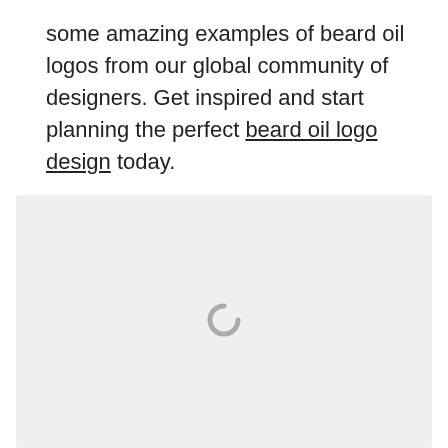some amazing examples of beard oil logos from our global community of designers. Get inspired and start planning the perfect beard oil logo design today.
[Figure (other): A light grey loading placeholder area with a grey circular loading spinner icon in the center, indicating content is loading.]